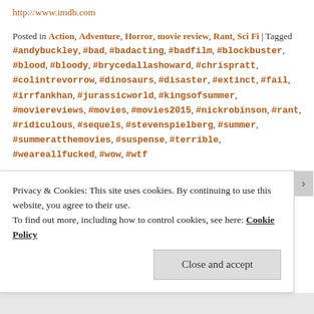http://www.imdb.com
Posted in Action, Adventure, Horror, movie review, Rant, Sci Fi | Tagged #andybuckley, #bad, #badacting, #badfilm, #blockbuster, #blood, #bloody, #brycedallashoward, #chrispratt, #colintrevorrow, #dinosaurs, #disaster, #extinct, #fail, #irrfankhan, #jurassicworld, #kingsofsummer, #moviereviews, #movies, #movies2015, #nickrobinson, #rant, #ridiculous, #sequels, #stevenspielberg, #summer, #summeratthemovies, #suspense, #terrible, #weareallfucked, #wow, #wtf
Privacy & Cookies: This site uses cookies. By continuing to use this website, you agree to their use.
To find out more, including how to control cookies, see here: Cookie Policy
Close and accept